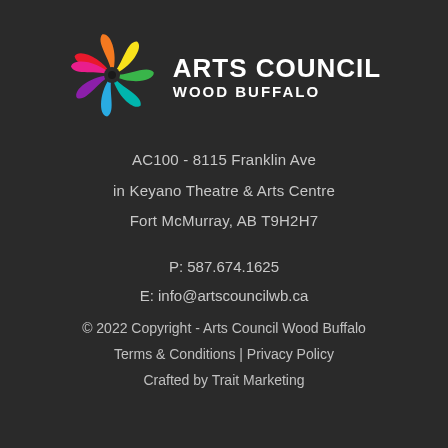[Figure (logo): Arts Council Wood Buffalo colorful flower/swirl logo with multicolored petals in red, orange, yellow, green, teal, blue, purple]
ARTS COUNCIL
WOOD BUFFALO
AC100 - 8115 Franklin Ave
in Keyano Theatre & Arts Centre
Fort McMurray, AB T9H2H7
P: 587.674.1625
E: info@artscouncilwb.ca
© 2022 Copyright - Arts Council Wood Buffalo
Terms & Conditions | Privacy Policy
Crafted by Trait Marketing